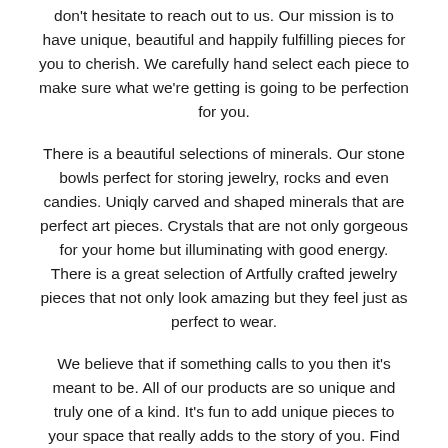don't hesitate to reach out to us. Our mission is to have unique, beautiful and happily fulfilling pieces for you to cherish. We carefully hand select each piece to make sure what we're getting is going to be perfection for you.
There is a beautiful selections of minerals. Our stone bowls perfect for storing jewelry, rocks and even candies. Uniqly carved and shaped minerals that are perfect art pieces. Crystals that are not only gorgeous for your home but illuminating with good energy. There is a great selection of Artfully crafted jewelry pieces that not only look amazing but they feel just as perfect to wear.
We believe that if something calls to you then it's meant to be. All of our products are so unique and truly one of a kind. It's fun to add unique pieces to your space that really adds to the story of you. Find new things that make your space and heart feel "just right".